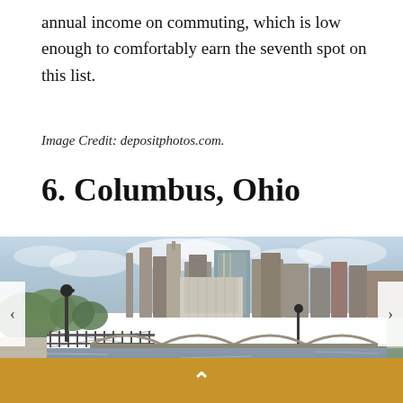annual income on commuting, which is low enough to comfortably earn the seventh spot on this list.
Image Credit: depositphotos.com.
6. Columbus, Ohio
[Figure (photo): Cityscape of Columbus, Ohio showing downtown skyscrapers, a river with a stone arch bridge, a riverside walkway with fence and lamp posts, and green trees in the foreground under a cloudy sky.]
[Figure (other): Navigation arrows on left and right sides of the photo slideshow, and an amber/gold bottom bar with an upward-pointing chevron arrow.]